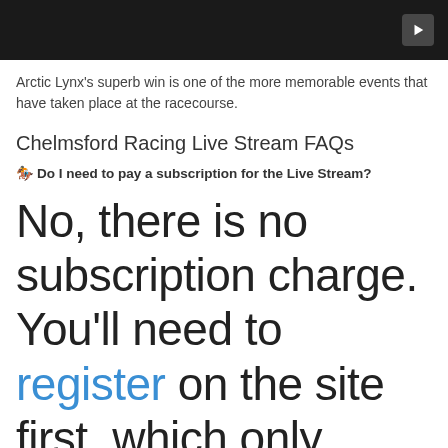[Figure (screenshot): Dark video thumbnail with a play button icon in the top-right corner]
Arctic Lynx's superb win is one of the more memorable events that have taken place at the racecourse.
Chelmsford Racing Live Stream FAQs
🏇 Do I need to pay a subscription for the Live Stream?
No, there is no subscription charge. You'll need to register on the site first, which only takes a minute